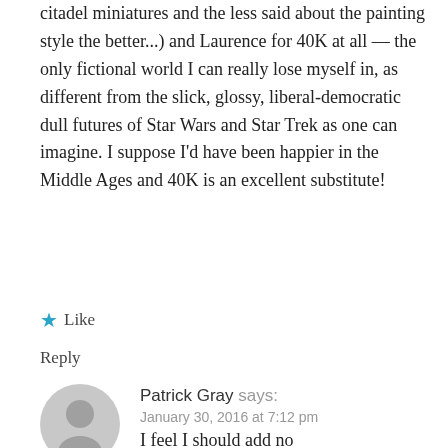citadel miniatures and the less said about the painting style the better...) and Laurence for 40K at all — the only fictional world I can really lose myself in, as different from the slick, glossy, liberal-democratic dull futures of Star Wars and Star Trek as one can imagine. I suppose I'd have been happier in the Middle Ages and 40K is an excellent substitute!
★ Like
Reply
[Figure (illustration): Generic user avatar: gray circle with a person silhouette icon]
Patrick Gray says:
January 30, 2016 at 7:12 pm
I feel I should add no